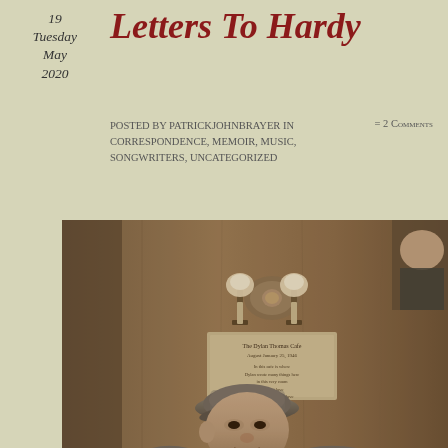19
Tuesday
May
2020
Letters To Hardy
Posted by patrickjohnbrayer in Correspondence, Memoir, Music, Songwriters, Uncategorized
= 2 Comments
[Figure (photo): Black and white / sepia photograph of a man wearing a flat cap and jacket, seated in front of a wood-paneled wall with a wall sconce lamp and a small plaque above him. Partial figure of another person visible at top right.]